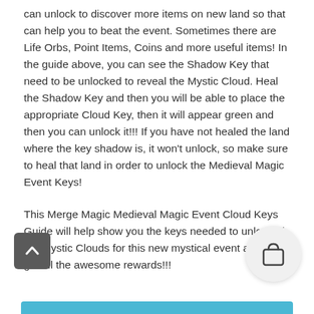can unlock to discover more items on new land so that can help you to beat the event. Sometimes there are Life Orbs, Point Items, Coins and more useful items! In the guide above, you can see the Shadow Key that need to be unlocked to reveal the Mystic Cloud. Heal the Shadow Key and then you will be able to place the appropriate Cloud Key, then it will appear green and then you can unlock it!!! If you have not healed the land where the key shadow is, it won't unlock, so make sure to heal that land in order to unlock the Medieval Magic Event Keys!
This Merge Magic Medieval Magic Event Cloud Keys Guide will help show you the keys needed to unlocked the Mystic Clouds for this new mystical event and he' get all the awesome rewards!!!
[Figure (illustration): Shop/bag icon button - circular light grey button with shopping bag icon]
[Figure (illustration): Scroll to top button - dark grey rounded square button with upward arrow]